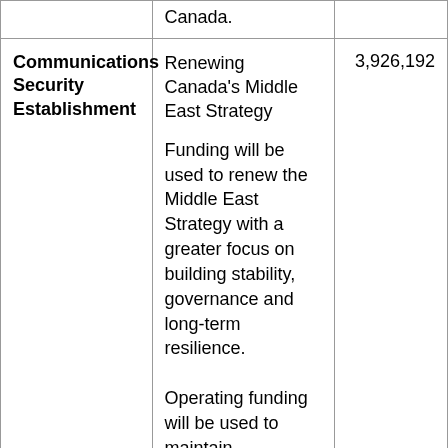| Organization | Description | Amount |
| --- | --- | --- |
|  | Canada. |  |
| Communications Security Establishment | Renewing Canada's Middle East Strategy

Funding will be used to renew the Middle East Strategy with a greater focus on building stability, governance and long-term resilience.

Operating funding will be used to maintain intelligence... | 3,926,192 |